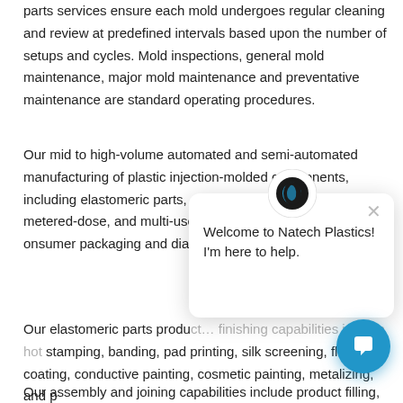parts services ensure each mold undergoes regular cleaning and review at predefined intervals based upon the number of setups and cycles. Mold inspections, general mold maintenance, major mold maintenance and preventative maintenance are standard operating procedures.
Our mid to high-volume automated and semi-automated manufacturing of plastic injection-molded components, including elastomeric parts, and assemblies for single-use, metered-dose, and multi-use disposables for the drug delivery, consumer packaging and diagnostics [obscured] economical value.
Our elastomeric parts produ... [obscured] finishing capabilities include hot stamping, banding, pad printing, silk screening, flaw coating, conductive painting, cosmetic painting, metalizing, and p[obscured]
Our assembly and joining capabilities include product filling,
[Figure (other): Chat widget overlay with Natech Plastics logo (black and blue sphere icon), close button (X), message 'Welcome to Natech Plastics! I'm here to help.' and a blue circular chat button icon at bottom right.]